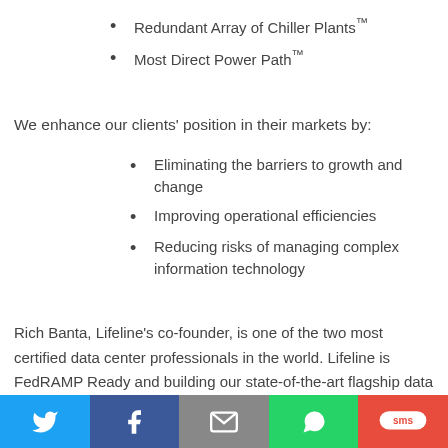Redundant Array of Chiller Plants™
Most Direct Power Path™
We enhance our clients' position in their markets by:
Eliminating the barriers to growth and change
Improving operational efficiencies
Reducing risks of managing complex information technology
Rich Banta, Lifeline's co-founder, is one of the two most certified data center professionals in the world. Lifeline is FedRAMP Ready and building our state-of-the-art flagship data center in Fort Wayne. That location will be one of the first commercial EMP-resistant colocation facilities in the
Twitter | Facebook | Email | WhatsApp | SMS